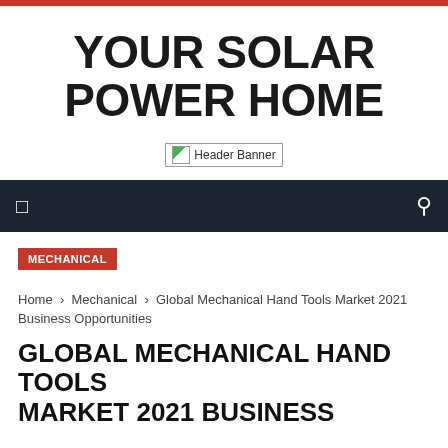YOUR SOLAR POWER HOME
[Figure (other): Header Banner placeholder image]
MECHANICAL
Home › Mechanical › Global Mechanical Hand Tools Market 2021 Business Opportunities
GLOBAL MECHANICAL HAND TOOLS MARKET 2021 BUSINESS